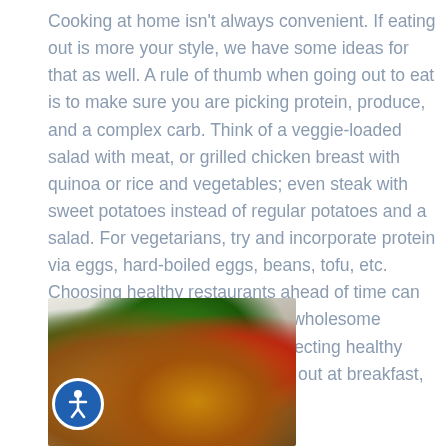Cooking at home isn't always convenient. If eating out is more your style, we have some ideas for that as well. A rule of thumb when going out to eat is to make sure you are picking protein, produce, and a complex carb. Think of a veggie-loaded salad with meat, or grilled chicken breast with quinoa or rice and vegetables; even steak with sweet potatoes instead of regular potatoes and a salad. For vegetarians, try and incorporate protein via eggs, hard-boiled eggs, beans, tofu, etc. Choosing healthy restaurants ahead of time can ensure you will consume some wholesome ingredients and superfoods. Selecting healthy meals can be done while eating out at breakfast, brunch, lunch, or dinner!
[Figure (photo): A plate of healthy food including grilled salmon or fish, colorful vegetables (broccoli, tomatoes, zucchini, peppers), and garnishes on a white plate. An accessibility icon (person in circle) is overlaid in the bottom-left corner of the image.]